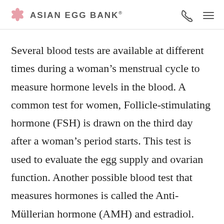ASIAN EGG BANK
Several blood tests are available at different times during a woman’s menstrual cycle to measure hormone levels in the blood. A common test for women, Follicle-stimulating hormone (FSH) is drawn on the third day after a woman’s period starts. This test is used to evaluate the egg supply and ovarian function. Another possible blood test that measures hormones is called the Anti-Müllerian hormone (AMH) and estradiol.